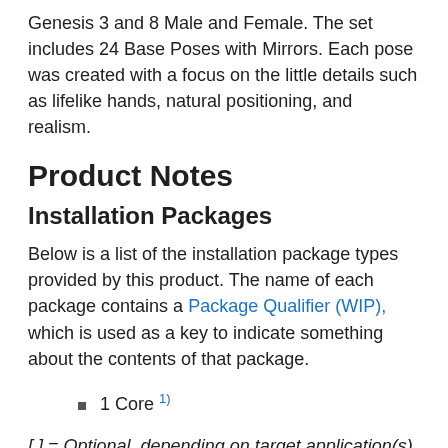Genesis 3 and 8 Male and Female. The set includes 24 Base Poses with Mirrors. Each pose was created with a focus on the little details such as lifelike hands, natural positioning, and realism.
Product Notes
Installation Packages
Below is a list of the installation package types provided by this product. The name of each package contains a Package Qualifier (WIP), which is used as a key to indicate something about the contents of that package.
1 Core 1)
[ ] = Optional, depending on target application(s)
Not all installation packages provide files that are